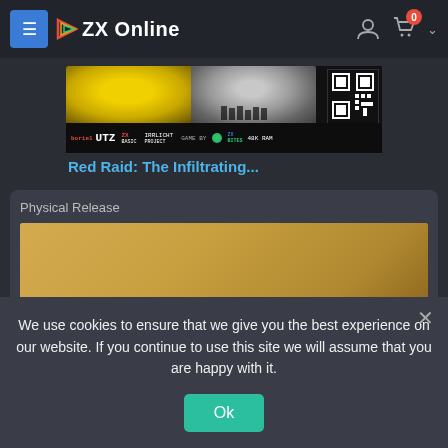ZX Online
[Figure (screenshot): ZX Spectrum game promo banner for boriel UTZ - Irrlicht Project, ZX BASIC, GAME BY ZX BITES, 48K RAM, with QR code]
Red Raid: The Infiltrating...
Physical Release
[Figure (photo): Physical release box/card product photo on wooden surface with blue card showing ZX Spectrum compatibility text]
We use cookies to ensure that we give you the best experience on our website. If you continue to use this site we will assume that you are happy with it.